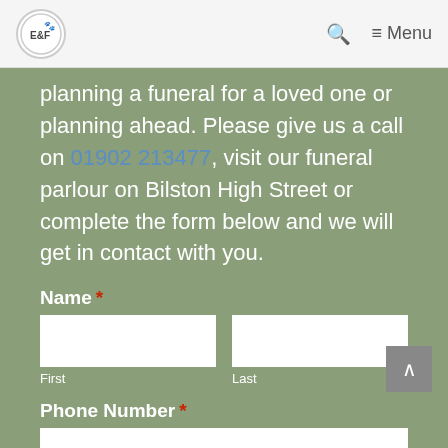E&F — Menu
planning a funeral for a loved one or planning ahead. Please give us a call on 01902 213477, visit our funeral parlour on Bilston High Street or complete the form below and we will get in contact with you.
Name *
First
Last
Phone Number *
Email *